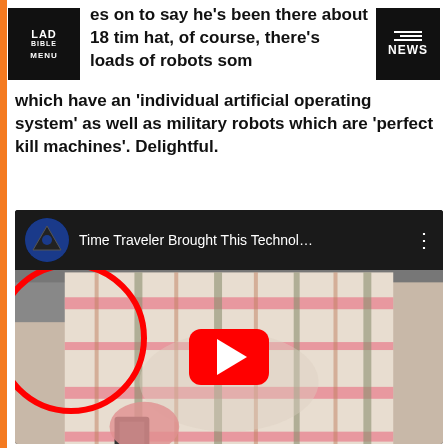[Figure (screenshot): LAD Bible website screenshot showing navigation bar with LAD BIBLE MENU logo on left and NEWS button on right, article text about time traveler and robots, and an embedded YouTube video thumbnail titled 'Time Traveler Brought This Technol...' with a play button overlay and a red circle annotation on the video. The video thumbnail shows a person in a pink/green plaid shirt.]